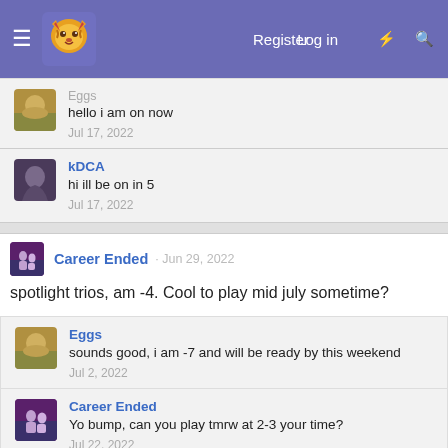Navigation bar with logo, Log in, Register links
hello i am on now
Jul 17, 2022
kDCA
hi ill be on in 5
Jul 17, 2022
Career Ended · Jun 29, 2022
spotlight trios, am -4. Cool to play mid july sometime?
Eggs
sounds good, i am -7 and will be ready by this weekend
Jul 2, 2022
Career Ended
Yo bump, can you play tmrw at 2-3 your time?
Jul 22, 2022